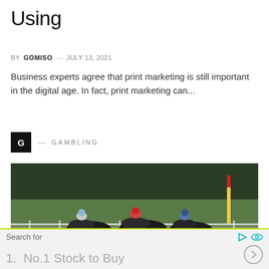Using
BY GOMISO — JULY 13, 2021
Business experts agree that print marketing is still important in the digital age. In fact, print marketing can...
G — GAMBLING
[Figure (photo): Horse racing photo showing jockeys racing on a track with green grass and rail fences in the background.]
Search for
1.  No.1 Stock to Buy